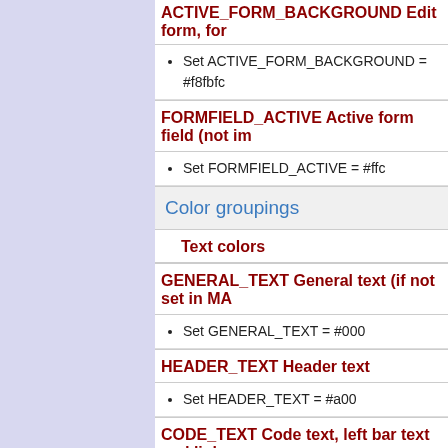ACTIVE_FORM_BACKGROUND Edit form, for...
Set ACTIVE_FORM_BACKGROUND = #f8fbfc
FORMFIELD_ACTIVE Active form field (not im...
Set FORMFIELD_ACTIVE = #ffc
Color groupings
Text colors
GENERAL_TEXT General text (if not set in MA...
Set GENERAL_TEXT = #000
HEADER_TEXT Header text
Set HEADER_TEXT = #a00
CODE_TEXT Code text, left bar text and links
Set CODE_TEXT = #7A4707